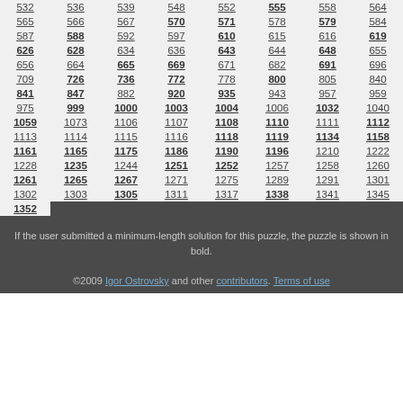| 532 | 536 | 539 | 548 | 552 | 555 | 558 | 564 |
| 565 | 566 | 567 | 570 | 571 | 578 | 579 | 584 |
| 587 | 588 | 592 | 597 | 610 | 615 | 616 | 619 |
| 626 | 628 | 634 | 636 | 643 | 644 | 648 | 655 |
| 656 | 664 | 665 | 669 | 671 | 682 | 691 | 696 |
| 709 | 726 | 736 | 772 | 778 | 800 | 805 | 840 |
| 841 | 847 | 882 | 920 | 935 | 943 | 957 | 959 |
| 975 | 999 | 1000 | 1003 | 1004 | 1006 | 1032 | 1040 |
| 1059 | 1073 | 1106 | 1107 | 1108 | 1110 | 1111 | 1112 |
| 1113 | 1114 | 1115 | 1116 | 1118 | 1119 | 1134 | 1158 |
| 1161 | 1165 | 1175 | 1186 | 1190 | 1196 | 1210 | 1222 |
| 1228 | 1235 | 1244 | 1251 | 1252 | 1257 | 1258 | 1260 |
| 1261 | 1265 | 1267 | 1271 | 1275 | 1289 | 1291 | 1301 |
| 1302 | 1303 | 1305 | 1311 | 1317 | 1338 | 1341 | 1345 |
| 1352 |
If the user submitted a minimum-length solution for this puzzle, the puzzle is shown in bold.
©2009 Igor Ostrovsky and other contributors. Terms of use